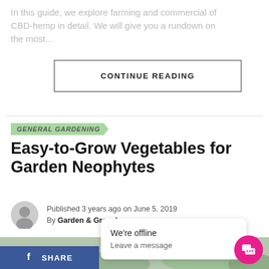In this guide, we explore farming and commercial of CBD-hemp in detail. We will give you a rundown on the most...
CONTINUE READING
GENERAL GARDENING
Easy-to-Grow Vegetables for Garden Neophytes
Published 3 years ago on June 5, 2019
By Garden & Greenhouse
[Figure (photo): Photo of a person gardening outdoors with plants/greenery in background]
SHARE
We're offline
Leave a message